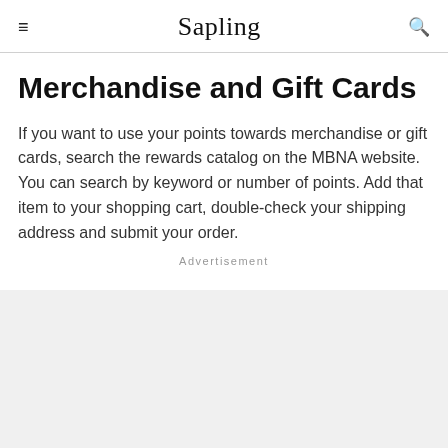≡  Sapling  🔍
Merchandise and Gift Cards
If you want to use your points towards merchandise or gift cards, search the rewards catalog on the MBNA website. You can search by keyword or number of points. Add that item to your shopping cart, double-check your shipping address and submit your order.
Advertisement